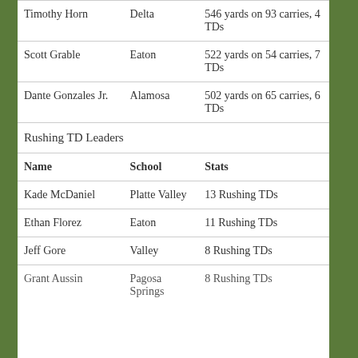| Timothy Horn | Delta | 546 yards on 93 carries, 4 TDs |
| Scott Grable | Eaton | 522 yards on 54 carries, 7 TDs |
| Dante Gonzales Jr. | Alamosa | 502 yards on 65 carries, 6 TDs |
Rushing TD Leaders
| Name | School | Stats |
| --- | --- | --- |
| Kade McDaniel | Platte Valley | 13 Rushing TDs |
| Ethan Florez | Eaton | 11 Rushing TDs |
| Jeff Gore | Valley | 8 Rushing TDs |
| Grant Aussin | Pagosa Springs | 8 Rushing TDs |